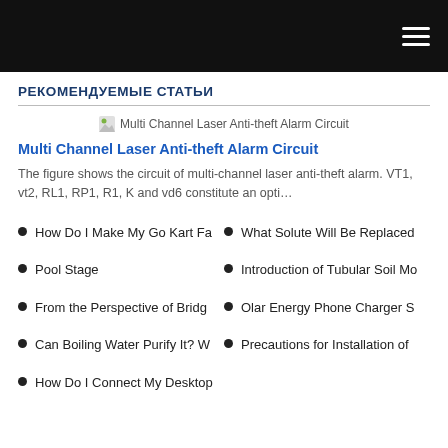РЕКОМЕНДУЕМЫЕ СТАТЬИ
[Figure (illustration): Thumbnail image for article: Multi Channel Laser Anti-theft Alarm Circuit]
Multi Channel Laser Anti-theft Alarm Circuit
The figure shows the circuit of multi-channel laser anti-theft alarm. VT1, vt2, RL1, RP1, R1, K and vd6 constitute an opti…
How Do I Make My Go Kart Fa…
What Solute Will Be Replaced…
Pool Stage
Introduction of Tubular Soil Mo…
From the Perspective of Bridg…
Olar Energy Phone Charger S…
Can Boiling Water Purify It? W…
Precautions for Installation of
How Do I Connect My Desktop…